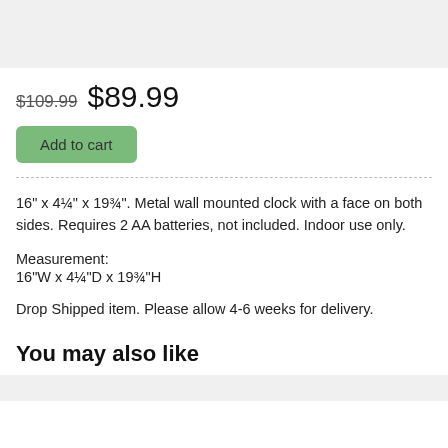[Figure (photo): Product image placeholder (gray background)]
$109.99 $89.99
Add to cart
16" x 4¼" x 19¾". Metal wall mounted clock with a face on both sides. Requires 2 AA batteries, not included. Indoor use only.
Measurement:
16"W x 4¼"D x 19¾"H
Drop Shipped item. Please allow 4-6 weeks for delivery.
You may also like